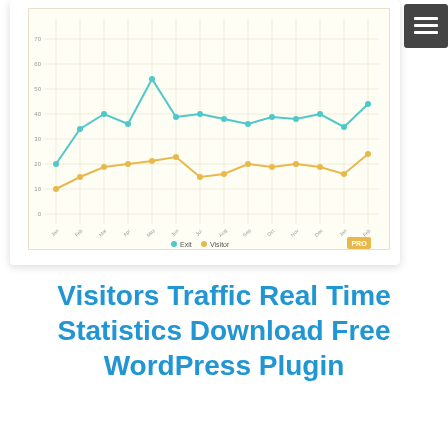[Figure (screenshot): Screenshot of a WordPress plugin dashboard showing a line chart with two series (teal/blue line and gold/orange line) plotting visitor traffic statistics over time with a PRO badge and legend showing 'Exit' and 'Visitor' labels. A dark menu button is visible in the top right corner.]
Visitors Traffic Real Time Statistics Download Free WordPress Plugin